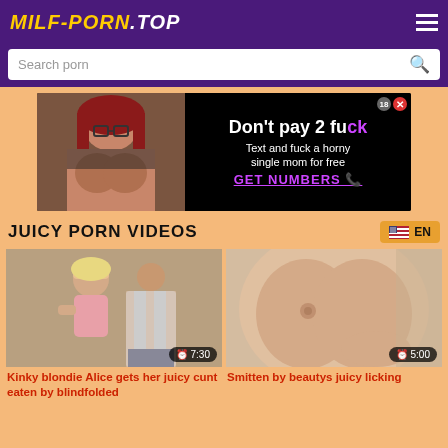MILF-PORN.TOP
Search porn
[Figure (photo): Advertisement banner: woman with red hair and glasses on left, black background with text 'Don't pay 2 fuck - Text and fuck a horny single mom for free - GET NUMBERS']
JUICY PORN VIDEOS
EN
[Figure (photo): Video thumbnail showing a blonde woman in pink top with a man, duration 7:30]
Kinky blondie Alice gets her juicy cunt eaten by blindfolded
[Figure (photo): Video thumbnail showing close-up of woman's chest, duration 5:00]
Smitten by beautys juicy licking